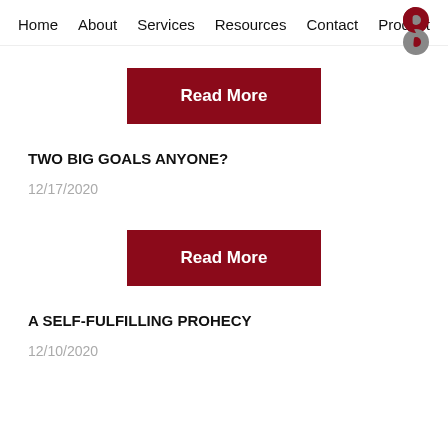Home   About   Services   Resources   Contact   Product
[Figure (illustration): Red and gray yin-yang style logo icon in top right corner]
Read More
TWO BIG GOALS ANYONE?
12/17/2020
Read More
A SELF-FULFILLING PROHECY
12/10/2020